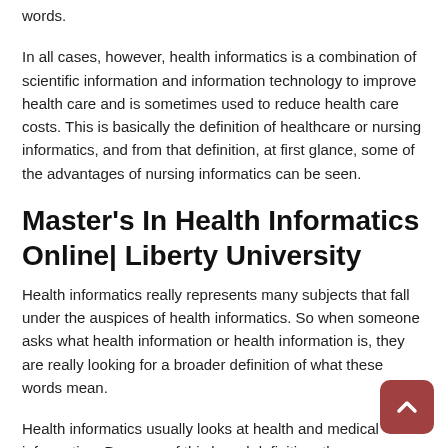words.
In all cases, however, health informatics is a combination of scientific information and information technology to improve health care and is sometimes used to reduce health care costs. This is basically the definition of healthcare or nursing informatics, and from that definition, at first glance, some of the advantages of nursing informatics can be seen.
Master's In Health Informatics Online| Liberty University
Health informatics really represents many subjects that fall under the auspices of health informatics. So when someone asks what health information or health information is, they are really looking for a broader definition of what these words mean.
Health informatics usually looks at health and medical information. Because of this broad definition, the